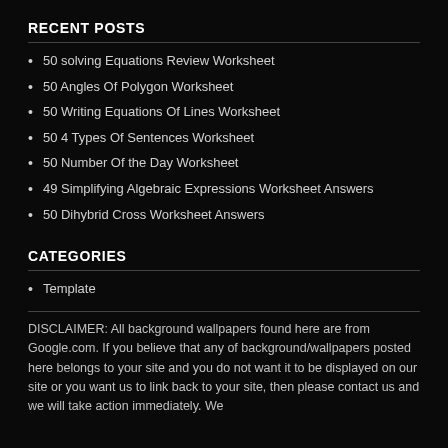RECENT POSTS
50 solving Equations Review Worksheet
50 Angles Of Polygon Worksheet
50 Writing Equations Of Lines Worksheet
50 4 Types Of Sentences Worksheet
50 Number Of the Day Worksheet
49 Simplifying Algebraic Expressions Worksheet Answers
50 Dihybrid Cross Worksheet Answers
CATEGORIES
Template
DISCLAIMER: All background wallpapers found here are from Google.com. If you believe that any of background/wallpapers posted here belongs to your site and you do not want it to be displayed on our site or you want us to link back to your site, then please contact us and we will take action immediately. We